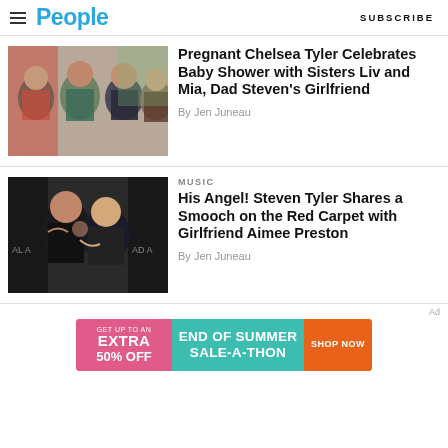People | SUBSCRIBE
[Figure (photo): Group photo of four women smiling together indoors]
Pregnant Chelsea Tyler Celebrates Baby Shower with Sisters Liv and Mia, Dad Steven's Girlfriend
By Jen Juneau
MUSIC
[Figure (photo): Two people sharing a kiss on a red carpet with event signage in background]
His Angel! Steven Tyler Shares a Smooch on the Red Carpet with Girlfriend Aimee Preston
By Jen Juneau
Ad
[Figure (other): Advertisement banner: GET UP TO AN EXTRA 50% OFF END OF SUMMER SALE-A-THON SHOP NOW]